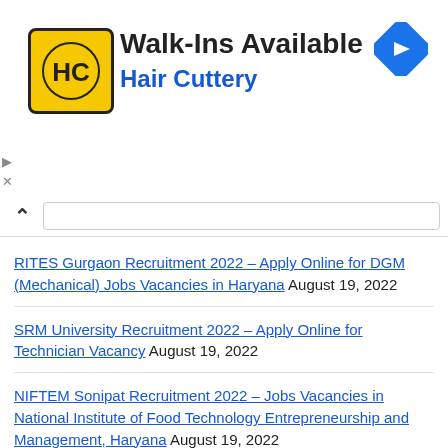[Figure (logo): Hair Cuttery advertisement banner with HC logo and Walk-Ins Available text]
RITES Gurgaon Recruitment 2022 – Apply Online for DGM (Mechanical) Jobs Vacancies in Haryana August 19, 2022
SRM University Recruitment 2022 – Apply Online for Technician Vacancy August 19, 2022
NIFTEM Sonipat Recruitment 2022 – Jobs Vacancies in National Institute of Food Technology Entrepreneurship and Management, Haryana August 19, 2022
NDRI Karnal Recruitment 2022 – Jobs Vacancies in National Dairy Research Institute Karnal August 18, 2022